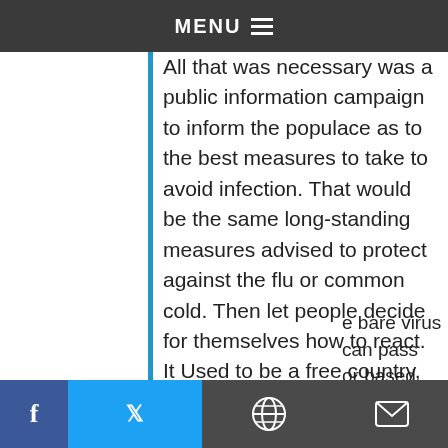MENU
totalitarian control
All that was necessary was a public information campaign to inform the populace as to the best measures to take to avoid infection. That would be the same long-standing measures advised to protect against the flu or common cold. Then let people decide for themselves how to react. It Used to be a free country, you know.
KennethAmerica
MAY 22, 2020, 3:19 PM
e bare virus can pass
or based mask". The